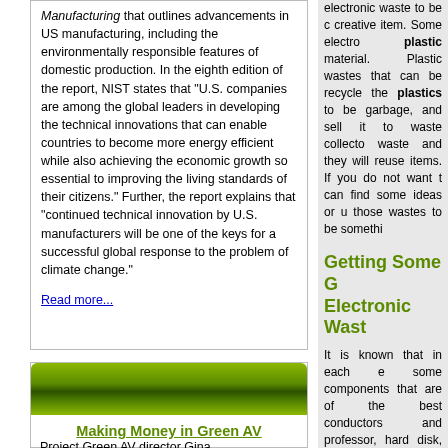Manufacturing that outlines advancements in US manufacturing, including the environmentally responsible features of domestic production. In the eighth edition of the report, NIST states that “U.S. companies are among the global leaders in developing the technical innovations that can enable countries to become more energy efficient while also achieving the economic growth so essential to improving the living standards of their citizens.” Further, the report explains that “continued technical innovation by U.S. manufacturers will be one of the keys for a successful global response to the problem of climate change.”
Read more...
[Figure (illustration): Green gradient banner strip for article section]
Making Money in Green AV
Project Green AV director Gina
electronic waste to be c creative item. Some electro plastic material. Plastic wastes that can be recycled the plastics to be garbage, and sell it to waste collecto waste and they will reuse items. If you do not want t can find some ideas or u those wastes to be somethi
Getting Some G Electronic Wast
It is known that in each e some components that are of the best conductors and professor, hard disk, or P spend so much money a components into gold. A applied to get this preciou wastes. Anyone can do this the components. You only nitric acid, as well as parac can put the components i nitric acid and wait until Next, you can use the pa liquid.